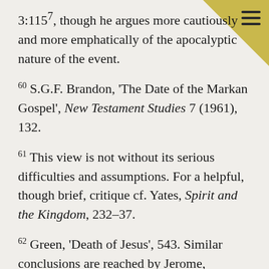3:115⁷, though he argues more cautiously and more emphatically of the apocalyptic nature of the event.
60 S.G.F. Brandon, 'The Date of the Markan Gospel', New Testament Studies 7 (1961), 132.
61 This view is not without its serious difficulties and assumptions. For a helpful, though brief, critique cf. Yates, Spirit and the Kingdom, 232–37.
62 Green, 'Death of Jesus', 543. Similar conclusions are reached by Jerome, Commentary on Matthew 27:51; P. Benoit, The Passion and Resurrection of Jesus Christ (trans. B. Weatherhead; New York: Herder & Herder, 1969), 201–202; D. Marguerat, Le Judgment das l'Evangile de Matthieu